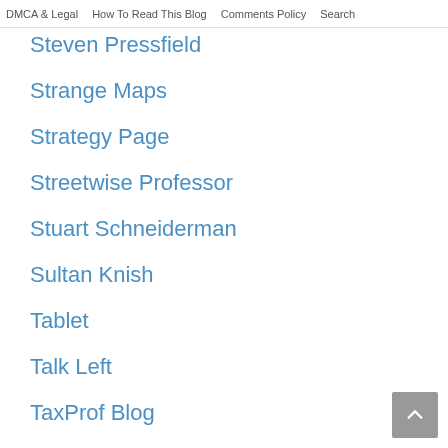DMCA & Legal   How To Read This Blog   Comments Policy   Search
Steven Pressfield
Strange Maps
Strategy Page
Streetwise Professor
Stuart Schneiderman
Sultan Knish
Tablet
Talk Left
TaxProf Blog
TechCrunch
The Pipeline
Think-Israel
Thomas P.M. Barnett